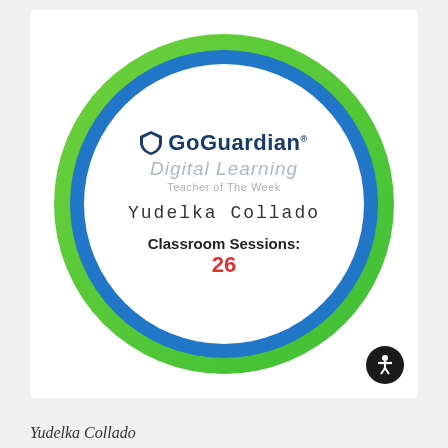[Figure (illustration): GoGuardian Digital Learning Teacher of The Week badge for Yudelka Collado with Classroom Sessions: 26. Circular badge with green outer ring, blue middle ring, white inner circle containing GoGuardian logo, text fields, and teacher name in handwriting font.]
Yudelka Collado